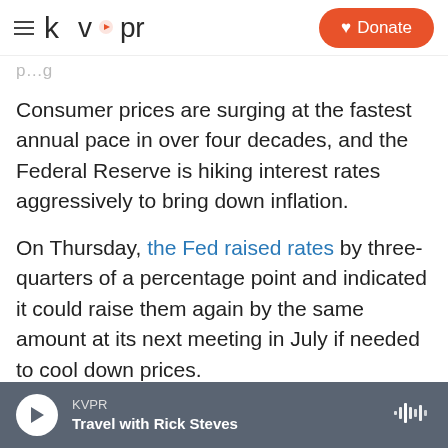kvpr | Donate
Consumer prices are surging at the fastest annual pace in over four decades, and the Federal Reserve is hiking interest rates aggressively to bring down inflation.
On Thursday, the Fed raised rates by three-quarters of a percentage point and indicated it could raise them again by the same amount at its next meeting in July if needed to cool down prices.
Higher interest rates make borrowing costs more expensive for people and companies, and that's
KVPR — Travel with Rick Steves